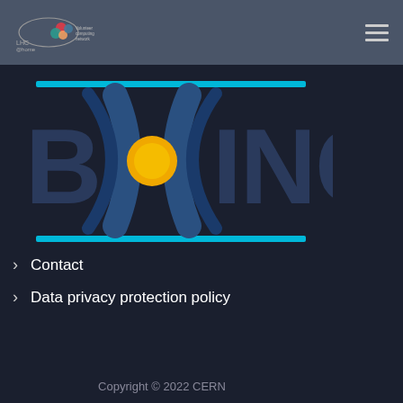[Figure (logo): LHC@home logo with colourful particle icon and text]
[Figure (logo): BOINC logo in blue and dark with yellow circle accent, cyan horizontal lines above and below]
Contact
Data privacy protection policy
Copyright © 2022 CERN